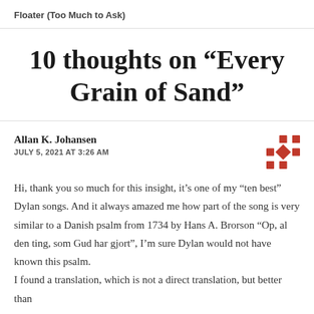Floater (Too Much to Ask)
10 thoughts on “Every Grain of Sand”
Allan K. Johansen
JULY 5, 2021 AT 3:26 AM
Hi, thank you so much for this insight, it’s one of my “ten best” Dylan songs. And it always amazed me how part of the song is very similar to a Danish psalm from 1734 by Hans A. Brorson “Op, al den ting, som Gud har gjort”, I’m sure Dylan would not have known this psalm.
I found a translation, which is not a direct translation, but better than